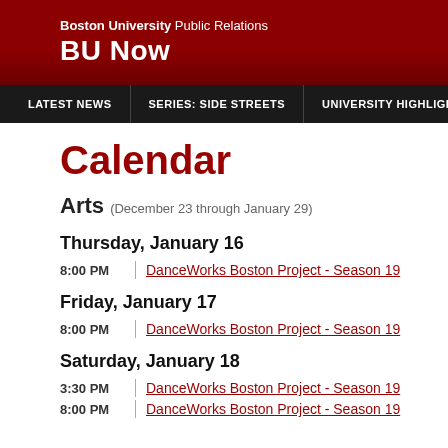Boston University Public Relations BU Now
LATEST NEWS | SERIES: SIDE STREETS | UNIVERSITY HIGHLIGHTS
Calendar
Arts (December 23 through January 29)
Thursday, January 16
8:00 PM | DanceWorks Boston Project - Season 19
Friday, January 17
8:00 PM | DanceWorks Boston Project - Season 19
Saturday, January 18
3:30 PM | DanceWorks Boston Project - Season 19
8:00 PM | DanceWorks Boston Project - Season 19